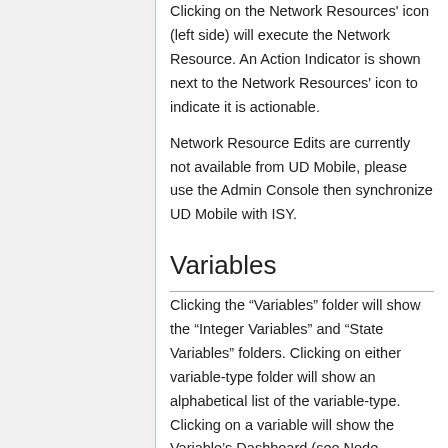Clicking on the Network Resources' icon (left side) will execute the Network Resource. An Action Indicator is shown next to the Network Resources' icon to indicate it is actionable.
Network Resource Edits are currently not available from UD Mobile, please use the Admin Console then synchronize UD Mobile with ISY.
Variables
Clicking the “Variables” folder will show the “Integer Variables” and “State Variables” folders. Clicking on either variable-type folder will show an alphabetical list of the variable-type. Clicking on a variable will show the Variable’s Dashboard (see Node Dashboard).